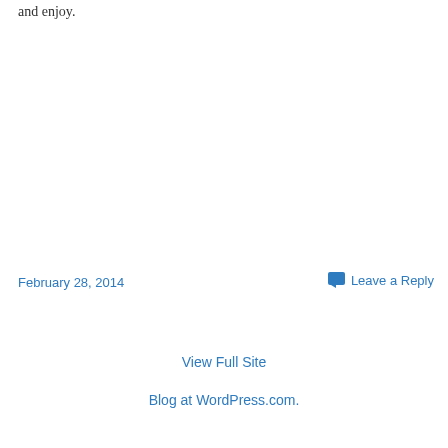and enjoy.
February 28, 2014
Leave a Reply
View Full Site
Blog at WordPress.com.